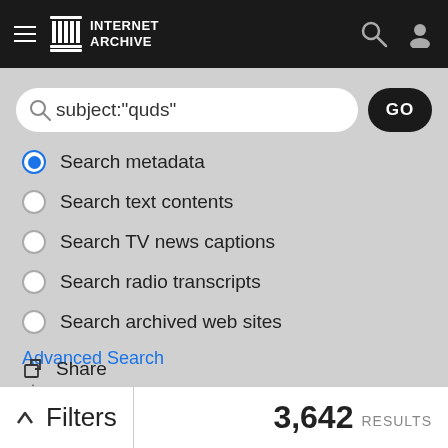[Figure (screenshot): Internet Archive mobile website navigation bar with hamburger menu, logo, search icon, and user icon on dark background]
subject:"quds"
Search metadata (selected)
Search text contents
Search TV news captions
Search radio transcripts
Search archived web sites
Advanced Search
Share
Favorite
Filters   3,642 RESULTS